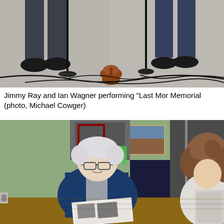[Figure (photo): Two people's lower legs and feet on a floor with microphone stands, cables, and a violin/fiddle resting on the floor between microphone stands.]
Jimmy Ray and Ian Wagner performing “Last Mor Memorial (photo, Michael Cowger)
[Figure (photo): An elderly man with white hair and glasses wearing a blue cardigan over a gray shirt, seated in a chair, looking at papers or a booklet. A woman with curly hair sits nearby holding documents. They appear to be in a room with green walls and a landscape painting in the background.]